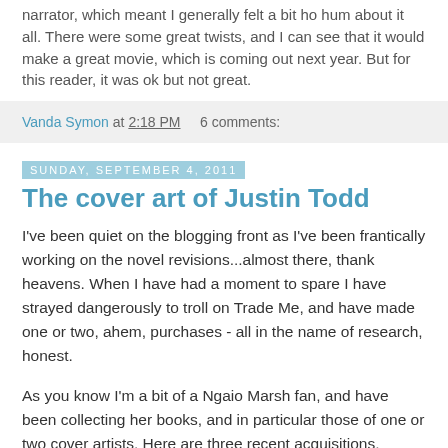narrator, which meant I generally felt a bit ho hum about it all. There were some great twists, and I can see that it would make a great movie, which is coming out next year. But for this reader, it was ok but not great.
Vanda Symon at 2:18 PM    6 comments:
Sunday, September 4, 2011
The cover art of Justin Todd
I've been quiet on the blogging front as I've been frantically working on the novel revisions...almost there, thank heavens. When I have had a moment to spare I have strayed dangerously to troll on Trade Me, and have made one or two, ahem, purchases - all in the name of research, honest.
As you know I'm a bit of a Ngaio Marsh fan, and have been collecting her books, and in particular those of one or two cover artists. Here are three recent acquisitions, Fontana